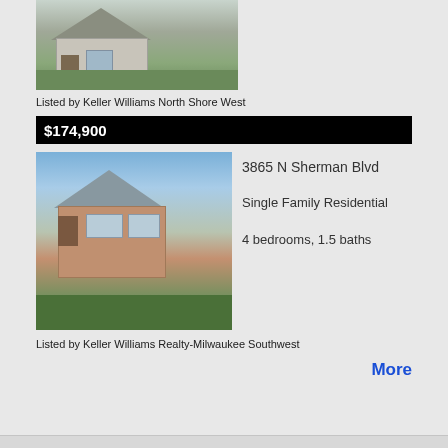[Figure (photo): Exterior photo of a residential house with porch and green lawn]
Listed by Keller Williams North Shore West
$174,900
[Figure (photo): Exterior photo of a brick single-family home with manicured lawn]
3865 N Sherman Blvd
Single Family Residential
4 bedrooms, 1.5 baths
Listed by Keller Williams Realty-Milwaukee Southwest
More